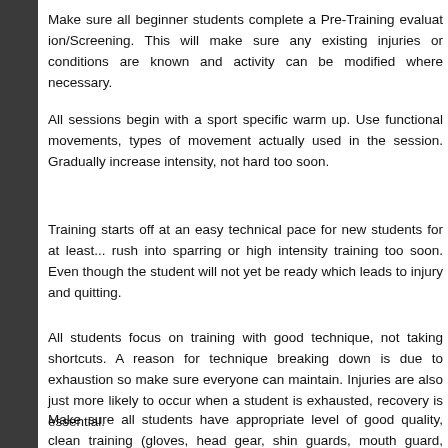Make sure all beginner students complete a Pre-Training evaluation/Screening. This will make sure any existing injuries or conditions are known and activity can be modified where necessary.
All sessions begin with a sport specific warm up. Use functional movements, types of movement actually used in the session. Gradually increase intensity, not hard too soon.
Training starts off at an easy technical pace for new students for at least... rush into sparring or high intensity training too soon. Even though the student will not yet be ready which leads to injury and quitting.
All students focus on training with good technique, not taking shortcuts. A reason for technique breaking down is due to exhaustion so make sure everyone can maintain. Injuries are also just more likely to occur when a student is exhausted, recovery is essential.
Make sure all students have appropriate level of good quality, clean training (gloves, head gear, shin guards, mouth guard, clean clothing suitable for... guard for grappling).